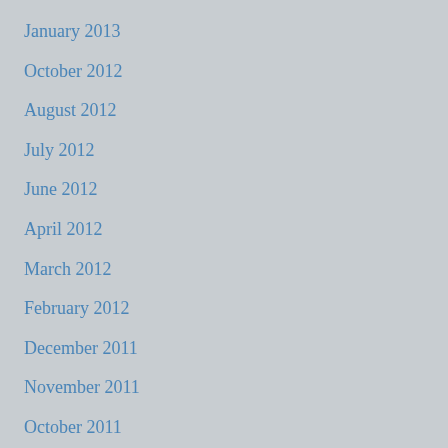January 2013
October 2012
August 2012
July 2012
June 2012
April 2012
March 2012
February 2012
December 2011
November 2011
October 2011
September 2011
August 2011
June 2011